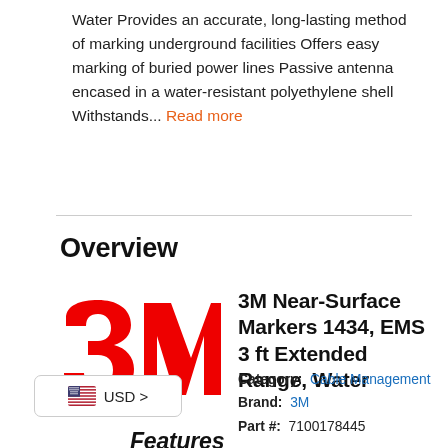Water Provides an accurate, long-lasting method of marking underground facilities Offers easy marking of buried power lines Passive antenna encased in a water-resistant polyethylene shell Withstands... Read more
Overview
[Figure (logo): 3M logo in red]
3M Near-Surface Markers 1434, EMS 3 ft Extended Range, Water
Category: Cable Management
Brand: 3M
Part #: 7100178445
USD >
Features